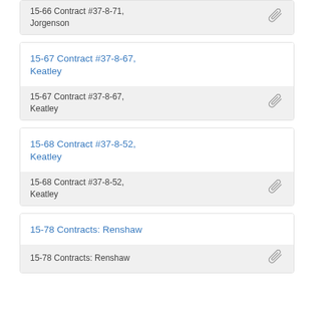15-66 Contract #37-8-71, Jorgenson
15-67 Contract #37-8-67, Keatley
15-68 Contract #37-8-52, Keatley
15-78 Contracts: Renshaw